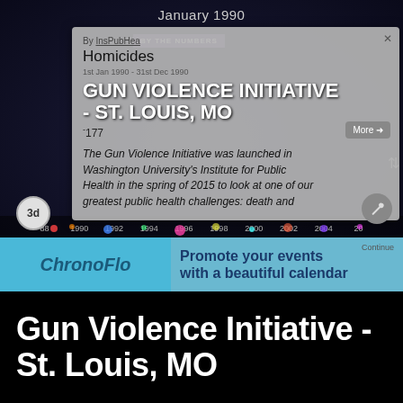[Figure (screenshot): Screenshot of a web-based timeline application showing a popup for 'Gun Violence Initiative - St. Louis, MO' with 'January 1990' as the selected date, showing Homicides data tooltip, a ChronoFlo advertisement banner, and a dark timeline interface with year labels from 1990 to 2006.]
Gun Violence Initiative - St. Louis, MO